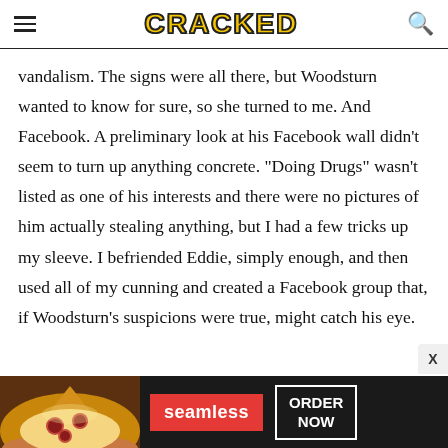CRACKED
vandalism. The signs were all there, but Woodsturn wanted to know for sure, so she turned to me. And Facebook. A preliminary look at his Facebook wall didn't seem to turn up anything concrete. "Doing Drugs" wasn't listed as one of his interests and there were no pictures of him actually stealing anything, but I had a few tricks up my sleeve. I befriended Eddie, simply enough, and then used all of my cunning and created a Facebook group that, if Woodsturn's suspicions were true, might catch his eye.
[Figure (other): Seamless food delivery advertisement banner showing pizza image, red seamless logo, and ORDER NOW button]